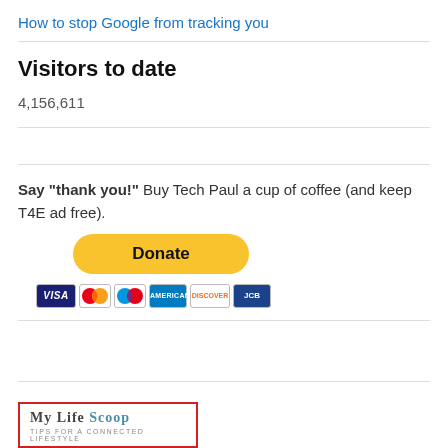How to stop Google from tracking you
Visitors to date
4,156,611
Say "thank you!" Buy Tech Paul a cup of coffee (and keep T4E ad free).
[Figure (other): PayPal Donate button with credit card icons (Visa, Mastercard, Maestro, American Express, Discover, another card)]
[Figure (logo): My Life Scoop - Tips for a Connected Lifestyle logo with red border]